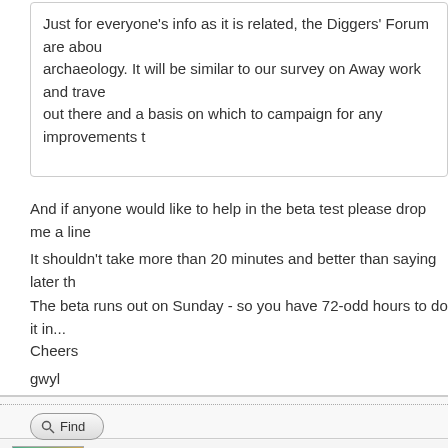Just for everyone's info as it is related, the Diggers' Forum are about archaeology. It will be similar to our survey on Away work and travel out there and a basis on which to campaign for any improvements t
And if anyone would like to help in the beta test please drop me a line
It shouldn't take more than 20 minutes and better than saying later th
The beta runs out on Sunday - so you have 72-odd hours to do it in...
Cheers
gwyl
Your Courage Yo W
Find
Unitof1 Newbie